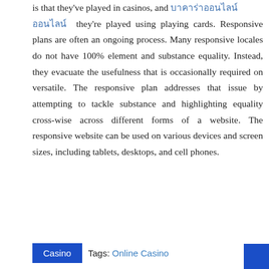is that they've played in casinos, and บาคาร่าออนไลน์ they're played using playing cards. Responsive plans are often an ongoing process. Many responsive locales do not have 100% element and substance equality. Instead, they evacuate the usefulness that is occasionally required on versatile. The responsive plan addresses that issue by attempting to tackle substance and highlighting equality cross-wise across different forms of a website. The responsive website can be used on various devices and screen sizes, including tablets, desktops, and cell phones.
Casino  Tags: Online Casino